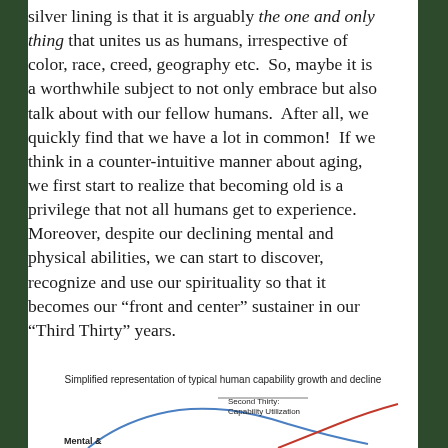silver lining is that it is arguably the one and only thing that unites us as humans, irrespective of color, race, creed, geography etc.  So, maybe it is a worthwhile subject to not only embrace but also talk about with our fellow humans.  After all, we quickly find that we have a lot in common!  If we think in a counter-intuitive manner about aging, we first start to realize that becoming old is a privilege that not all humans get to experience. Moreover, despite our declining mental and physical abilities, we can start to discover, recognize and use our spirituality so that it becomes our “front and center” sustainer in our “Third Thirty” years.
Simplified representation of typical human capability growth and decline
[Figure (continuous-plot): Bottom portion of a chart showing human capability growth and decline curves over time, with a label 'Second Thirty: Capability Utilization' and 'Mental &' visible at the bottom left.]